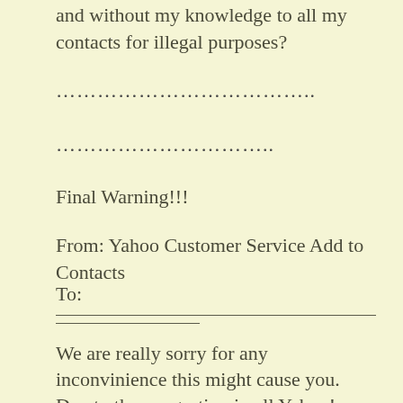and without my knowledge to all my contacts for illegal purposes?
……………………………..
………………………..
Final Warning!!!
From: Yahoo Customer Service Add to Contacts
To:
________________________________ ____________
We are really sorry for any inconvinience this might cause you. Due to the congestion in all Yahoo! account users, Yahoo! will be shuting down all unused accounts. In order to avoid the deactivation of your account, you will have to confirm your e-mail